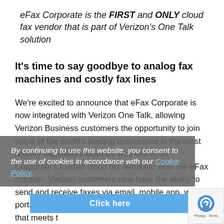eFax Corporate is the FIRST and ONLY cloud fax vendor that is part of Verizon's One Talk solution
It's time to say goodbye to analog fax machines and costly fax lines
We're excited to announce that eFax Corporate is now integrated with Verizon One Talk, allowing Verizon Business customers the opportunity to join some of the world's leading businesses in the most heavily regulated industries who use eFax Corporate's trusted cloud fax services. With the eFax solution, Verizon customers now have the ability to send and receive faxes via email, mobile app, web portal, or API th... a HITRUST CSF Certified® platform that meets th...
By continuing to use this website, you consent to the use of cookies in accordance with our Cookie Policy.